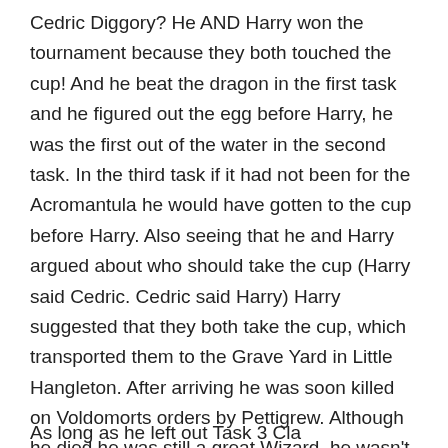Cedric Diggory? He AND Harry won the tournament because they both touched the cup! And he beat the dragon in the first task and he figured out the egg before Harry, he was the first out of the water in the second task. In the third task if it had not been for the Acromantula he would have gotten to the cup before Harry. Also seeing that he and Harry argued about who should take the cup (Harry said Cedric. Cedric said Harry) Harry suggested that they both take the cup, which transported them to the Grave Yard in Little Hangleton. After arriving he was soon killed on Voldomorts orders by Pettigrew. Although he died he was still a great Wizard, he wasn't lame! Nor was he stupid!
As long as he left out Task 3 Cla...